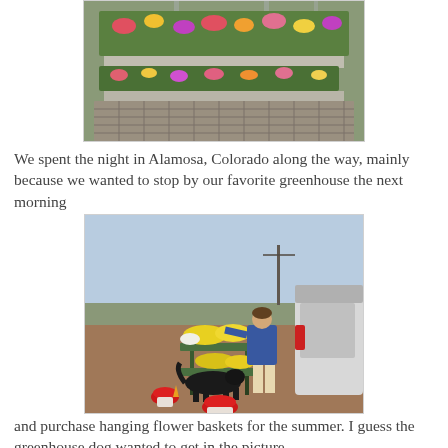[Figure (photo): Interior of a greenhouse with rows of flowering plants in trays on metal shelving/tables, colorful blooms visible.]
We spent the night in Alamosa, Colorado along the way, mainly because we wanted to stop by our favorite greenhouse the next morning
[Figure (photo): Outdoor scene at a greenhouse parking lot: a person in a blue jacket stands next to a cart with yellow and red flowers; a black dog walks nearby; a white SUV is visible on the right; red potted flowers on the ground.]
and purchase hanging flower baskets for the summer. I guess the greenhouse dog wanted to get in the picture.